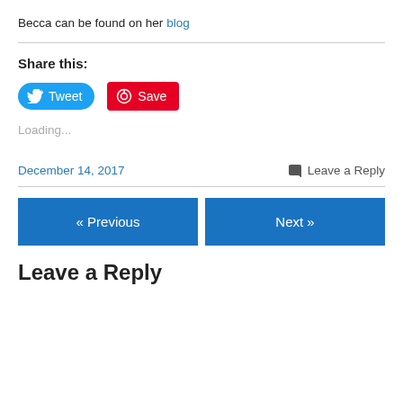Becca can be found on her blog
Share this:
[Figure (other): Tweet button (Twitter blue rounded) and Save button (Pinterest red)]
Loading...
December 14, 2017
Leave a Reply
« Previous
Next »
Leave a Reply